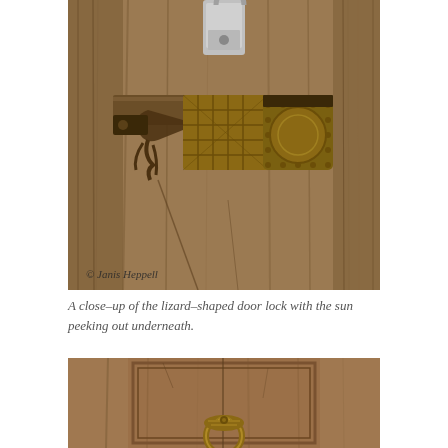[Figure (photo): A close-up photograph of a lizard-shaped ornate metal door lock on a weathered wooden door, with a modern padlock visible above it. A copyright watermark reads '© Janis Heppell' in the lower left corner.]
A close-up of the lizard-shaped door lock with the sun peeking out underneath.
[Figure (photo): A photograph of a weathered wooden door with panel detailing and a brass/bronze decorative door knocker or handle visible at the bottom center of the image.]